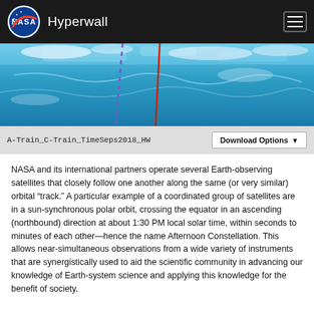NASA Hyperwall
[Figure (photo): Satellite image of Earth showing ocean surface with dotted purple and solid red vertical orbital track lines overlaid]
A-Train_C-Train_TimeSeps2018_HW
NASA and its international partners operate several Earth-observing satellites that closely follow one another along the same (or very similar) orbital “track.” A particular example of a coordinated group of satellites are in a sun-synchronous polar orbit, crossing the equator in an ascending (northbound) direction at about 1:30 PM local solar time, within seconds to minutes of each other—hence the name Afternoon Constellation. This allows near-simultaneous observations from a wide variety of instruments that are synergistically used to aid the scientific community in advancing our knowledge of Earth-system science and applying this knowledge for the benefit of society.